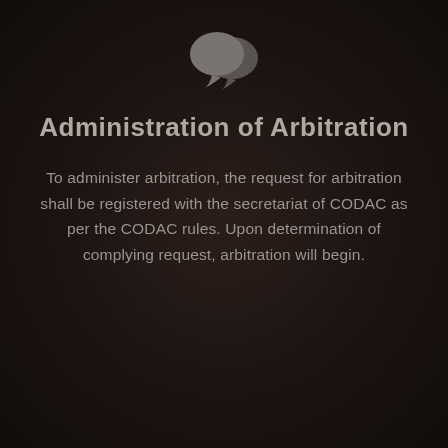[Figure (illustration): Two overlapping speech bubble chat icons in gray on dark background]
Administration of Arbitration
To administer arbitration, the request for arbitration shall be registered with the secretariat of CODAC as per the CODAC rules. Upon determination of complying request, arbitration will begin.